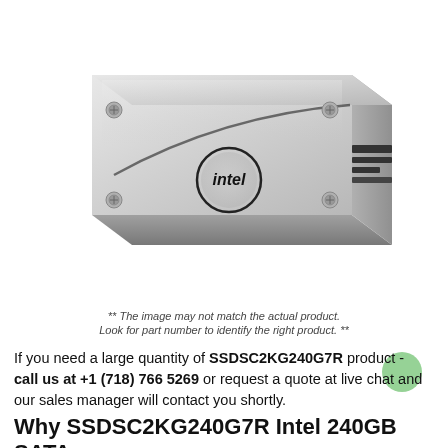[Figure (photo): Product photo of an Intel SSD (SSDSC2KG240G7R) - a 2.5-inch silver SATA solid state drive with Intel logo on the surface, shown in isometric/perspective view.]
** The image may not match the actual product. Look for part number to identify the right product. **
If you need a large quantity of SSDSC2KG240G7R product - call us at +1 (718) 766 5269 or request a quote at live chat and our sales manager will contact you shortly.
Why SSDSC2KG240G7R Intel 240GB SATA